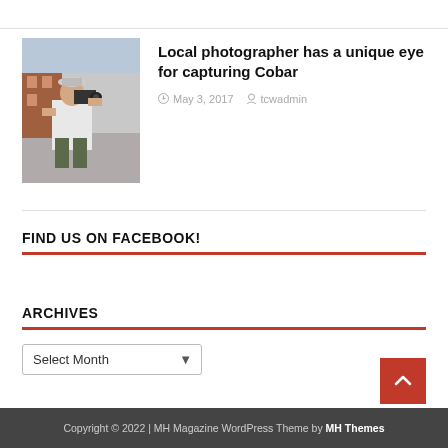[Figure (photo): Photograph of a person holding a camera to their face, outdoors on a street]
Local photographer has a unique eye for capturing Cobar
May 3, 2017   tcwadmin
FIND US ON FACEBOOK!
ARCHIVES
Select Month
Copyright © 2022 | MH Magazine WordPress Theme by MH Themes